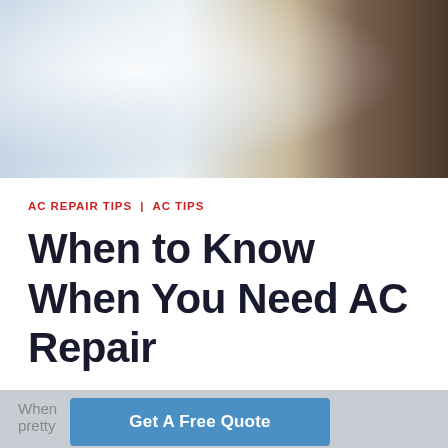[Figure (photo): Photo of HVAC/AC repair tools and equipment, including a tool bag with tools visible on the right side and white AC unit components on the left, light blue and white background]
AC REPAIR TIPS | AC TIPS
When to Know When You Need AC Repair
When ... s pretty ... need
Get A Free Quote